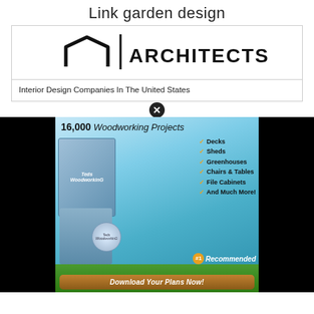Link garden design
[Figure (logo): Architects logo with geometric roof/arch shape and vertical bar, followed by text 'ARCHITECTS' in bold uppercase]
Interior Design Companies In The United States
[Figure (infographic): Advertisement for Ted's Woodworking: '16,000 Woodworking Projects' with checklist including Decks, Sheds, Greenhouses, Chairs & Tables, File Cabinets, And Much More! with #1 Recommended badge and 'Download Your Plans Now!' button. Shows a man holding a book and box product image.]